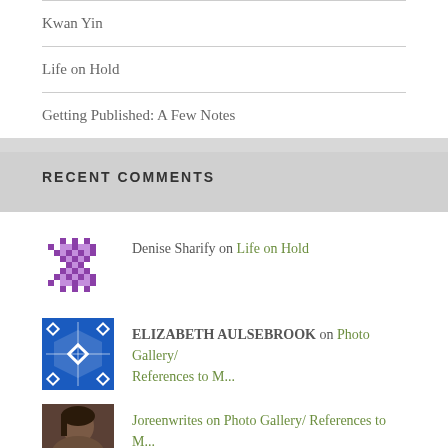Kwan Yin
Life on Hold
Getting Published: A Few Notes
RECENT COMMENTS
Denise Sharify on Life on Hold
ELIZABETH AULSEBROOK on Photo Gallery/ References to M...
Joreenwrites on Photo Gallery/ References to M...